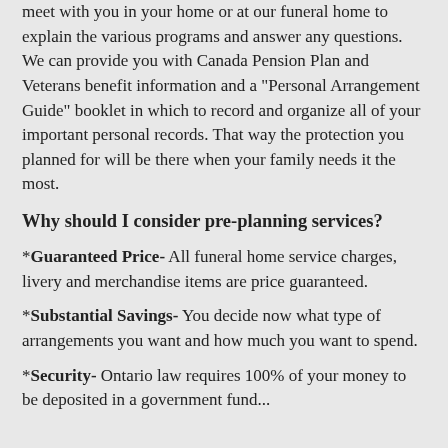meet with you in your home or at our funeral home to explain the various programs and answer any questions. We can provide you with Canada Pension Plan and Veterans benefit information and a "Personal Arrangement Guide" booklet in which to record and organize all of your important personal records. That way the protection you planned for will be there when your family needs it the most.
Why should I consider pre-planning services?
*Guaranteed Price- All funeral home service charges, livery and merchandise items are price guaranteed.
*Substantial Savings- You decide now what type of arrangements you want and how much you want to spend.
*Security- Ontario law requires 100% of your money to be deposited in a government fund...